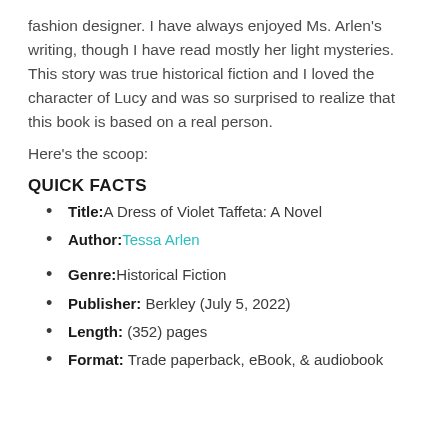fashion designer. I have always enjoyed Ms. Arlen's writing, though I have read mostly her light mysteries. This story was true historical fiction and I loved the character of Lucy and was so surprised to realize that this book is based on a real person.
Here's the scoop:
QUICK FACTS
Title: A Dress of Violet Taffeta: A Novel
Author: Tessa Arlen
Genre: Historical Fiction
Publisher: Berkley (July 5, 2022)
Length: (352) pages
Format: Trade paperback, eBook, & audiobook